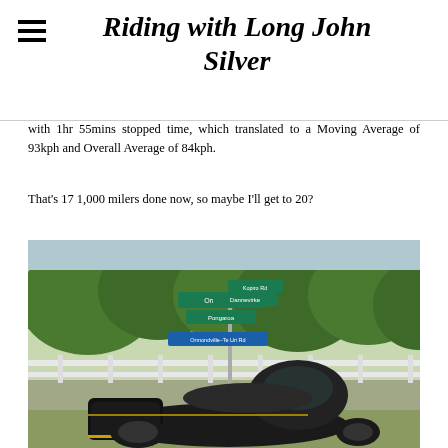Riding with Long John Silver
with 1hr 55mins stopped time, which translated to a Moving Average of 93kph and Overall Average of 84kph.
That's 17 1,000 milers done now, so maybe I'll get to 20?
[Figure (photo): A motorcycle parked at a rural road intersection with green directional signposts reading Ormondville, Ormondville-Te Uri Rd, and others, with trees and a white fence in the background.]